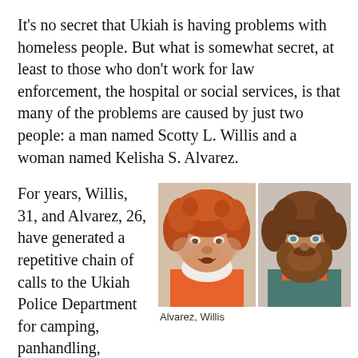It's no secret that Ukiah is having problems with homeless people. But what is somewhat secret, at least to those who don't work for law enforcement, the hospital or social services, is that many of the problems are caused by just two people: a man named Scotty L. Willis and a woman named Kelisha S. Alvarez.
For years, Willis, 31, and Alvarez, 26, have generated a repetitive chain of calls to the Ukiah Police Department for camping, panhandling, loitering, domestic violence, assault and violating their various restraining orders and probations.
[Figure (photo): Two mugshot photos side by side: left is Kelisha S. Alvarez (woman with curly red/auburn hair, heavy-set, wearing orange jail clothes), right is Scotty L. Willis (man with curly brown hair and full beard, wearing teal/orange jail clothes).]
Alvarez, Willis